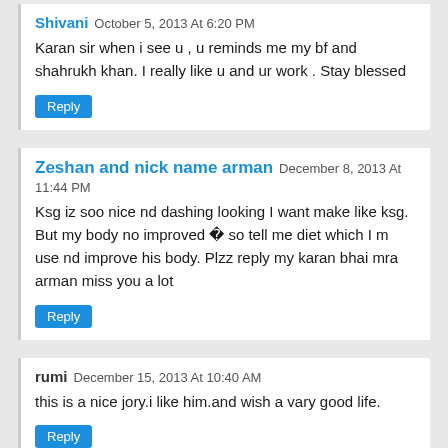Shivani October 5, 2013 At 6:20 PM
Karan sir when i see u , u reminds me my bf and shahrukh khan. I really like u and ur work . Stay blessed
Reply
Zeshan and nick name arman December 8, 2013 At 11:44 PM
Ksg iz soo nice nd dashing looking I want make like ksg. But my body no improved � so tell me diet which I m use nd improve his body. Plzz reply my karan bhai mra arman miss you a lot
Reply
rumi December 15, 2013 At 10:40 AM
this is a nice jory.i like him.and wish a vary good life.
Reply